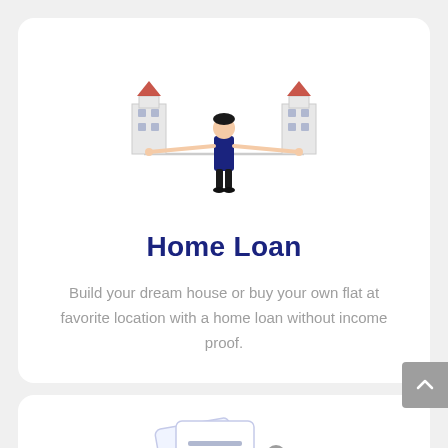[Figure (illustration): A person balancing two buildings/houses on a scale-like bar, representing home loan comparison or balance.]
Home Loan
Build your dream house or buy your own flat at favorite location with a home loan without income proof.
[Figure (illustration): Documents with a lock icon and a person standing beside them, representing secured loan documentation.]